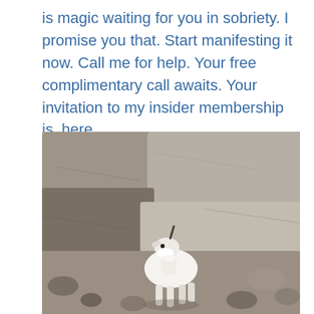is magic waiting for you in sobriety. I promise you that. Start manifesting it now. Call me for help. Your free complimentary call awaits. Your invitation to my insider membership is  here.
[Figure (photo): A white mountain goat standing among large granite boulders and rocky terrain, facing the camera.]